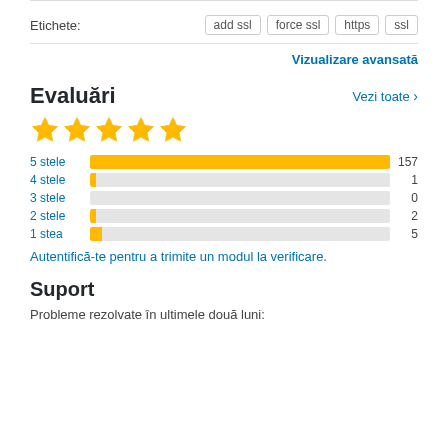Etichete:
add ssl   force ssl   https   ssl
Vizualizare avansată
Evaluări
Vezi toate >
[Figure (other): 5 gold stars rating]
[Figure (bar-chart): Rating distribution]
Autentifică-te pentru a trimite un modul la verificare.
Suport
Probleme rezolvate în ultimele două luni: